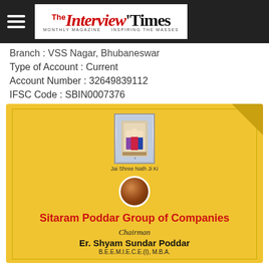The Interview Times
Branch : VSS Nagar, Bhubaneswar
Type of Account : Current
Account Number : 32649839112
IFSC Code : SBIN0007376
[Figure (illustration): Sitaram Poddar Group of Companies advertisement card on golden background showing deity image (Jai Shree Nath Ji Ki), rudraksha symbol, company name in red bold text, Chairman name Er. Shyam Sundar Poddar with qualifications B.E.E.M.I.E.C.E.(I), M.B.A.]